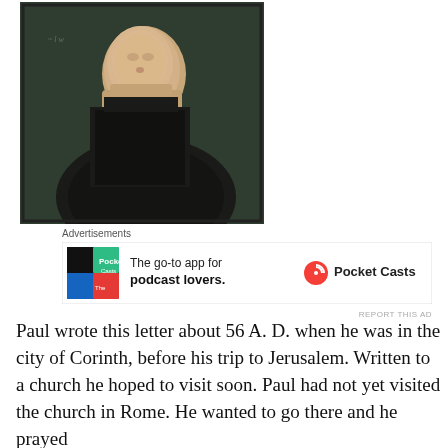[Figure (photo): Portrait painting of Martin Luther, shown from the chest up, wearing black robes, against a dark green background. Renaissance-era oil painting style.]
Advertisements
[Figure (infographic): Advertisement for Pocket Casts app. Shows colorful app icon with text: 'The go-to app for podcast lovers.' and the Pocket Casts logo.]
Paul wrote this letter about 56 A. D. when he was in the city of Corinth, before his trip to Jerusalem. Written to a church he hoped to visit soon. Paul had not yet visited the church in Rome. He wanted to go there and he prayed